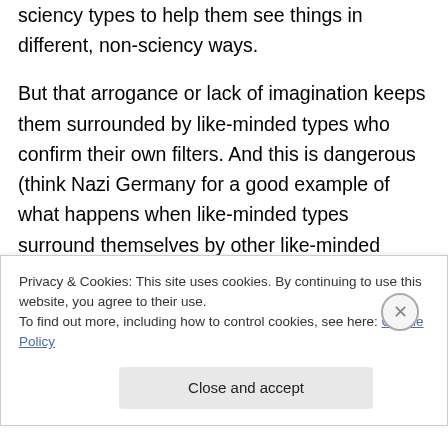sciency types to help them see things in different, non-sciency ways.
But that arrogance or lack of imagination keeps them surrounded by like-minded types who confirm their own filters. And this is dangerous (think Nazi Germany for a good example of what happens when like-minded types surround themselves by other like-minded types).
Interesting thoughts here — I'm fascinated to see what comes next!
Privacy & Cookies: This site uses cookies. By continuing to use this website, you agree to their use. To find out more, including how to control cookies, see here: Cookie Policy